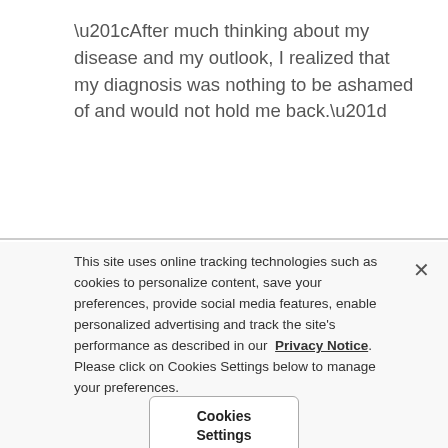“After much thinking about my disease and my outlook, I realized that my diagnosis was nothing to be ashamed of and would not hold me back.”
This site uses online tracking technologies such as cookies to personalize content, save your preferences, provide social media features, enable personalized advertising and track the site’s performance as described in our Privacy Notice. Please click on Cookies Settings below to manage your preferences.
Cookies Settings